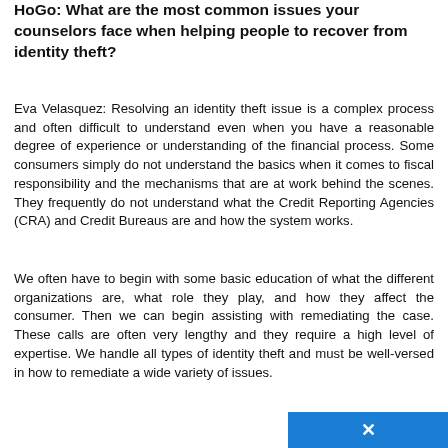HoGo: What are the most common issues your counselors face when helping people to recover from identity theft?
Eva Velasquez: Resolving an identity theft issue is a complex process and often difficult to understand even when you have a reasonable degree of experience or understanding of the financial process. Some consumers simply do not understand the basics when it comes to fiscal responsibility and the mechanisms that are at work behind the scenes. They frequently do not understand what the Credit Reporting Agencies (CRA) and Credit Bureaus are and how the system works.
We often have to begin with some basic education of what the different organizations are, what role they play, and how they affect the consumer. Then we can begin assisting with remediating the case. These calls are often very lengthy and they require a high level of expertise. We handle all types of identity theft and must be well-versed in how to remediate a wide variety of issues.